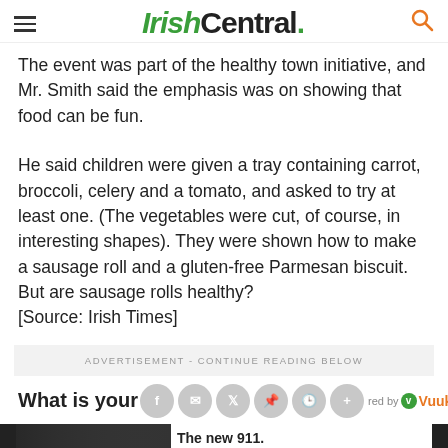IrishCentral.
The event was part of the healthy town initiative, and Mr. Smith said the emphasis was on showing that food can be fun.
He said children were given a tray containing carrot, broccoli, celery and a tomato, and asked to try at least one. (The vegetables were cut, of course, in interesting shapes). They were shown how to make a sausage roll and a gluten-free Parmesan biscuit. But are sausage rolls healthy?
[Source: Irish Times]
ADVERTISEMENT - CONTINUE READING BELOW
What is your
[Figure (screenshot): Advertisement banner showing Porsche 911 car with text 'The new 911. Ever ahead.' and a Learn More button with Porsche logo.]